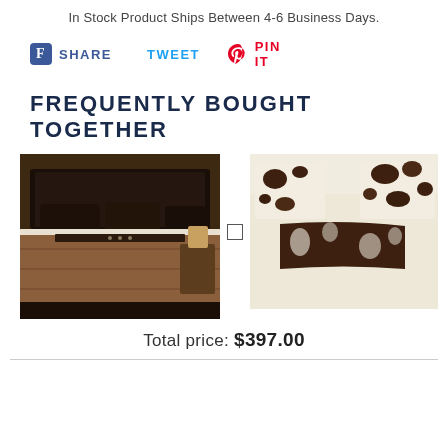In Stock Product Ships Between 4-6 Business Days.
SHARE   TWEET   PIN IT
FREQUENTLY BOUGHT TOGETHER
[Figure (photo): Brown western-style comforter set on a bed with dark pillows and decorative stitching]
[Figure (photo): Cream/ivory bedding set with dark brown cowhide print accent runner and pillow covers]
Total price: $397.00